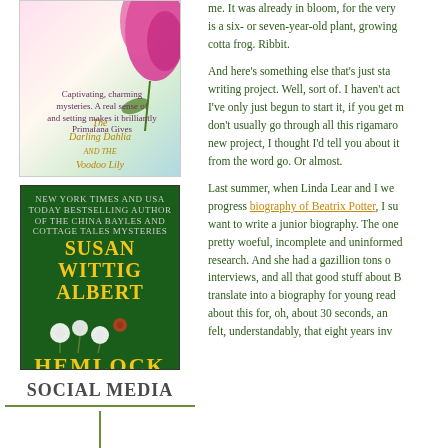[Figure (illustration): Book cover for 'The Darling Dahlia and the Voodoo Lily' with pink flower illustration]
[Figure (illustration): Book cover for 'Hemlock' by Susan Wittig Albert, green background with white flowers and yellow text]
SOCIAL MEDIA
SUSAN'S PODCASTS
All About Thyme
me. It was already in bloom, for the very is a six- or seven-year-old plant, growing cotta frog. Ribbit.
And here's something else that's just sta writing project. Well, sort of. I haven't act I've only just begun to start it, if you get m don't usually go through all this rigamaro new project, I thought I'd tell you about it from the word go. Or almost.
Last summer, when Linda Lear and I we progress biography of Beatrix Potter, I su want to write a junior biography. The one pretty woeful, incomplete and uninformed research. And she had a gazillion tons o interviews, and all that good stuff about B translate into a biography for young read about this for, oh, about 30 seconds, an felt, understandably, that eight years inv